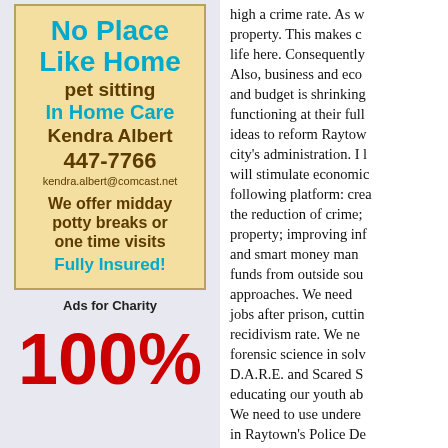[Figure (other): Advertisement box for 'No Place Like Home' pet sitting in home care service by Kendra Albert, phone 447-7766, email kendra.albert@comcast.net, offering midday potty breaks or one time visits, fully insured.]
Ads for Charity
100%
high a crime rate. As w property. This makes c life here. Consequently Also, business and eco and budget is shrinking functioning at their full ideas to reform Raytow city's administration. I l will stimulate economic following platform: crea the reduction of crime; property; improving inf and smart money man funds from outside sou approaches. We need jobs after prison, cuttin recidivism rate. We ne forensic science in solv D.A.R.E. and Scared S educating our youth ab We need to use undere in Raytown's Police De night for adolescents a Neighborhood Watch R encourage open comm